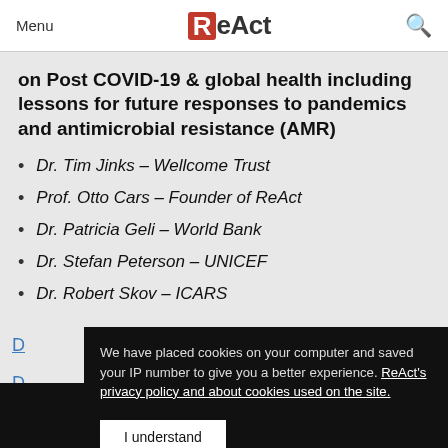Menu | ReAct | (search icon)
on Post COVID-19 & global health including lessons for future responses to pandemics and antimicrobial resistance (AMR)
Dr. Tim Jinks – Wellcome Trust
Prof. Otto Cars – Founder of ReAct
Dr. Patricia Geli – World Bank
Dr. Stefan Peterson – UNICEF
Dr. Robert Skov – ICARS
We have placed cookies on your computer and saved your IP number to give you a better experience. ReAct's privacy policy and about cookies used on the site.
I understand